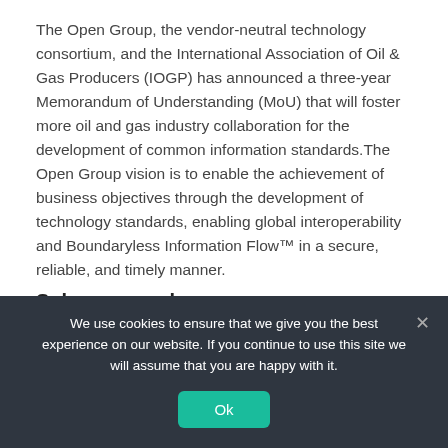The Open Group, the vendor-neutral technology consortium, and the International Association of Oil & Gas Producers (IOGP) has announced a three-year Memorandum of Understanding (MoU) that will foster more oil and gas industry collaboration for the development of common information standards.The Open Group vision is to enable the achievement of business objectives through the development of technology standards, enabling global interoperability and Boundaryless Information Flow™ in a secure, reliable, and timely manner.
Solar approval
Harmony Energy has received planning permission to build its first
We use cookies to ensure that we give you the best experience on our website. If you continue to use this site we will assume that you are happy with it.